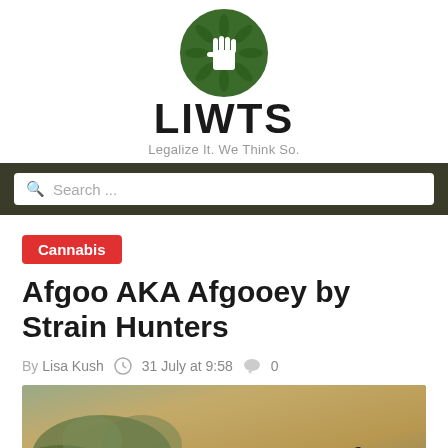[Figure (logo): LIWTS website logo with green fist and cannabis leaf icon, site name LIWTS and tagline Legalize It. We Think So.]
Search ...
Cannabis
Afgoo AKA Afgooey by Strain Hunters
By Lisa Kush   31 July at 9:58   0
[Figure (photo): Close-up photo of cannabis bud with text overlay reading Afgoo]